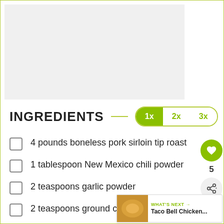[Figure (photo): Food photo placeholder — light gray rectangle at top of page]
INGREDIENTS 1x 2x 3x
4 pounds boneless pork sirloin tip roast
1 tablespoon New Mexico chili powder
2 teaspoons garlic powder
2 teaspoons ground cumin
[Figure (photo): What's Next thumbnail: Taco Bell Chicken...]